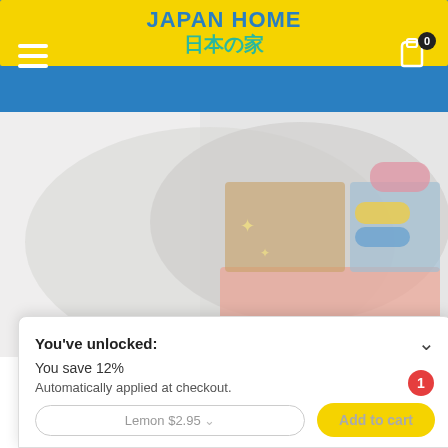[Figure (logo): Japan Home logo — yellow rectangle with 'JAPAN HOME' in blue bold text and '日本の家' in teal below]
[Figure (photo): Blurry product photo of a plastic container/box with Japanese branding, pink and orange label sections visible]
$3.48  $3.95
You've unlocked:
You save 12%
Automatically applied at checkout.
Lemon $2.95
Add to cart